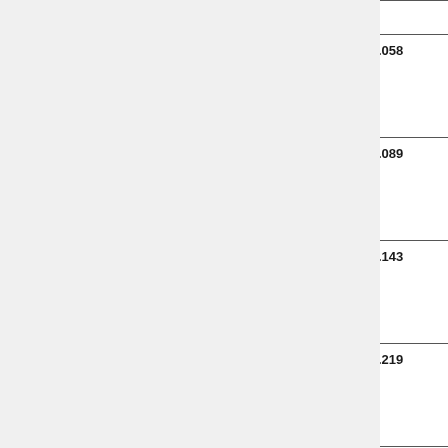| ID | Code / Number | Reference | Description (truncated) |
| --- | --- | --- | --- |
| pr-hg-01-058 | A5C1021003692 / 1815714933 | HG01.058 | Ko Mi Biz C3 |
| pr-hg-01-089 | A5AY021001213 / 1815714804 | HG01.089 | Ko Mi Biz C5 |
| pr-hg-01-143 | A5C1021003513 / 1815714938 | HG01.143 | Ko Mi Biz C3 |
| pr-hg-01-219 | A4Y4021000441 / 1816581628 | HG01.219 | Ko Mi Biz C3 |
| pr-hg-01- | A0VD023303547 | HG01.524 | Ko Mi |